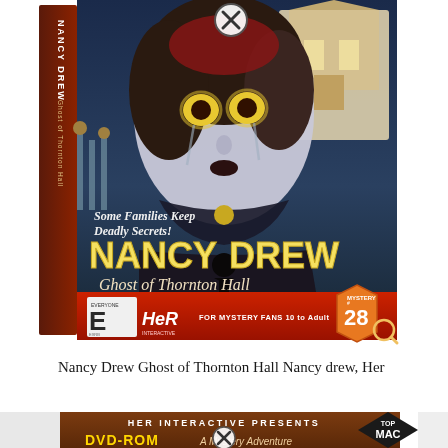[Figure (photo): Game box art for Nancy Drew: Ghost of Thornton Hall by Her Interactive. Shows a ghostly pale woman with glowing eyes, dark hair and Victorian clothing against a haunted mansion background. Tagline: 'Some Families Keep Deadly Secrets!' ESRB rated Everyone. Mystery game #28. For Mystery Fans 10 to Adult. A close button (X in circle) appears at the top of the image.]
Nancy Drew Ghost of Thornton Hall Nancy drew, Her
[Figure (photo): Partial bottom banner showing 'HER INTERACTIVE PRESENTS' in white text on brown background. Left side shows 'DVD-ROM' in gold text, center shows a close button (X circle), right side shows a 'TOP MAC' diamond badge. Lower text partially visible: 'A Mystery Adventure'.]